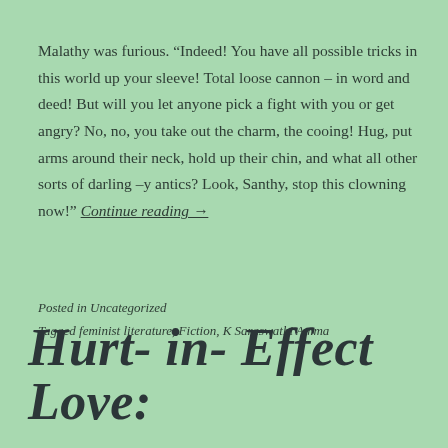Malathy was furious. “Indeed! You have all possible tricks in this world up your sleeve! Total loose cannon – in word and deed! But will you let anyone pick a fight with you or get angry? No, no, you take out the charm, the cooing! Hug, put arms around their neck, hold up their chin, and what all other sorts of darling –y antics? Look, Santhy, stop this clowning now!” Continue reading →
Posted in Uncategorized
Tagged feminist literature, Fiction, K Saraswathi Amma
Hurt- in- Effect Love: